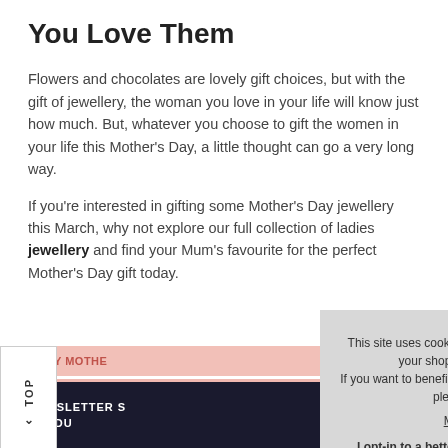You Love Them
Flowers and chocolates are lovely gift choices, but with the gift of jewellery, the woman you love in your life will know just how much. But, whatever you choose to gift the women in your life this Mother's Day, a little thought can go a very long way.
If you're interested in gifting some Mother's Day jewellery this March, why not explore our full collection of ladies jewellery and find your Mum's favourite for the perfect Mother's Day gift today.
LUXURY MOTHE...
MOTHER'S DAY...
TOP
NEWSLETTER S... PRODU...
This site uses cookies to provide and improve your shopping experience. If you want to benefit from this improved service, please opt-in.
More Info
I opt-in to a better browsing experience
ACCEPT COOKIES